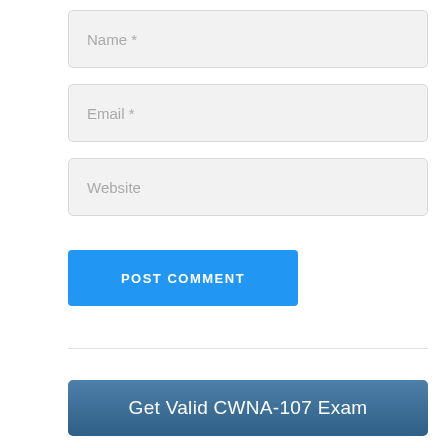Name *
Email *
Website
POST COMMENT
Get Valid CWNA-107 Exam